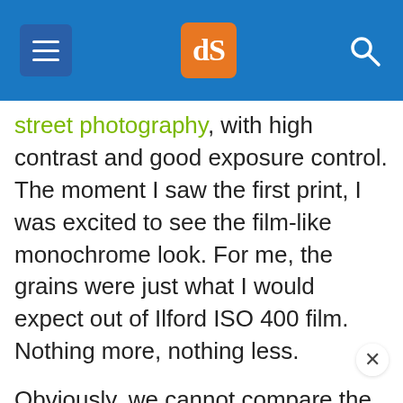dPS logo header with navigation
street photography, with high contrast and good exposure control. The moment I saw the first print, I was excited to see the film-like monochrome look. For me, the grains were just what I would expect out of Ilford ISO 400 film. Nothing more, nothing less.
Obviously, we cannot compare the results out of this disposal camera with an SLR camera, but for me, it can get the job done when the situation demands. Just for fun, I might buy this single-us